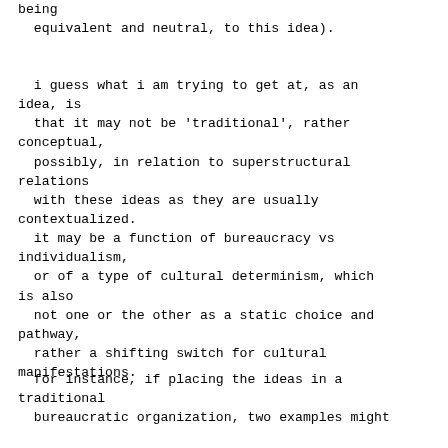being
  equivalent and neutral, to this idea).
i guess what i am trying to get at, as an idea, is
  that it may not be 'traditional', rather conceptual,
  possibly, in relation to superstructural relations
  with these ideas as they are usually contextualized.
  it may be a function of bureaucracy vs individualism,
  or of a type of cultural determinism, which is also
  not one or the other as a static choice and pathway,
  rather a shifting switch for cultural manifestations.
for instance, if placing the ideas in a traditional
  bureaucratic organization, two examples might